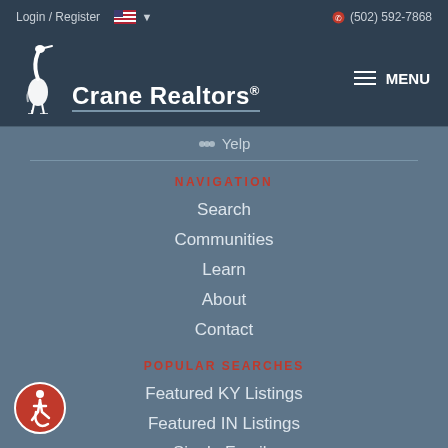Login / Register  (502) 592-7868
[Figure (logo): Crane Realtors logo with heron bird and text]
Yelp
NAVIGATION
Search
Communities
Learn
About
Contact
POPULAR SEARCHES
Featured KY Listings
Featured IN Listings
Single Family
[Figure (illustration): Accessibility wheelchair icon in red circle]